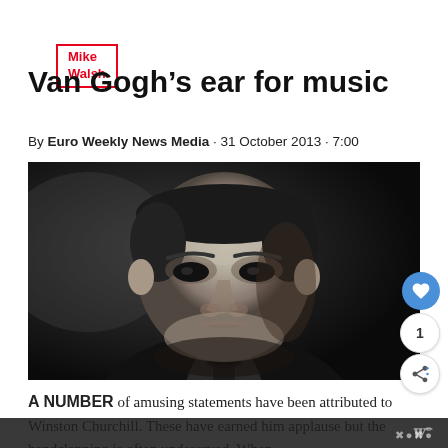Mike Walsh
Van Gogh’s ear for music
By Euro Weekly News Media · 31 October 2013 · 7:00
[Figure (photo): Black and white portrait photograph of Winston Churchill looking stern, wearing a dark suit and bow tie]
A NUMBER of amusing statements have been attributed to Winston Churchill. These have earned him applause but the handclapping is often undeserved. When